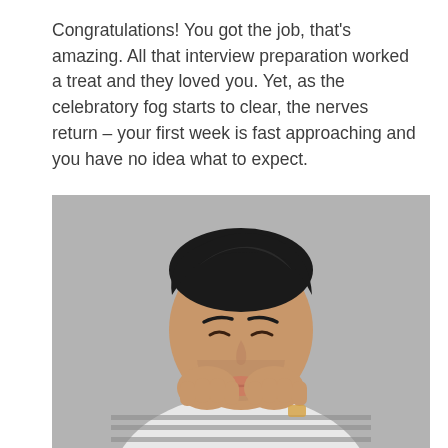Congratulations! You got the job, that's amazing. All that interview preparation worked a treat and they loved you. Yet, as the celebratory fog starts to clear, the nerves return – your first week is fast approaching and you have no idea what to expect.
[Figure (photo): A young man with dark hair wearing a white and black striped long-sleeve shirt, holding his hands up to his mouth in a nervous/excited expression, against a grey background.]